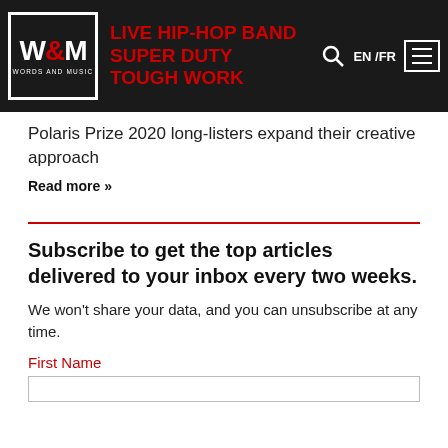W&M WORDS AND MUSIC | LIVE HIP-HOP BAND SUPER DUTY TOUGH WORK | EN /FR
Polaris Prize 2020 long-listers expand their creative approach
Read more »
Subscribe to get the top articles delivered to your inbox every two weeks.
We won't share your data, and you can unsubscribe at any time.
First Name